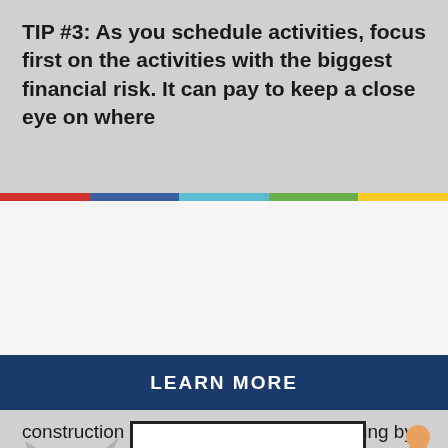TIP #3: As you schedule activities, focus first on the activities with the biggest financial risk. It can pay to keep a close eye on where
[Figure (illustration): Popup/modal overlay showing two cartoon cats holding a sign that reads 'Are you herding smart cats?' — a gray cat on the left in a blue shirt and an orange cat on the right in a green shirt. A white sign with black border is held between them. An X close button appears in the upper right corner of the popup.]
LEARN MORE
construction delays postponed that opening by about nine months. The loss of revenue